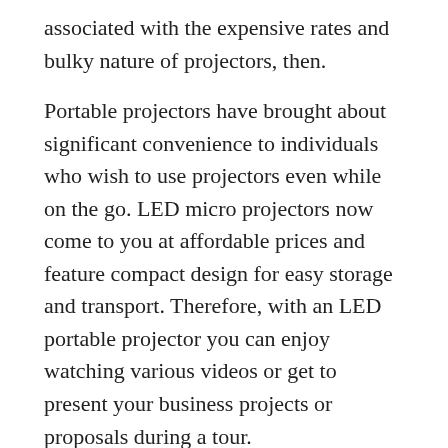associated with the expensive rates and bulky nature of projectors, then.
Portable projectors have brought about significant convenience to individuals who wish to use projectors even while on the go. LED micro projectors now come to you at affordable prices and feature compact design for easy storage and transport. Therefore, with an LED portable projector you can enjoy watching various videos or get to present your business projects or proposals during a tour.
Below, we review the top ten best LED portable projectors in 2022. Stay tuned. You will be